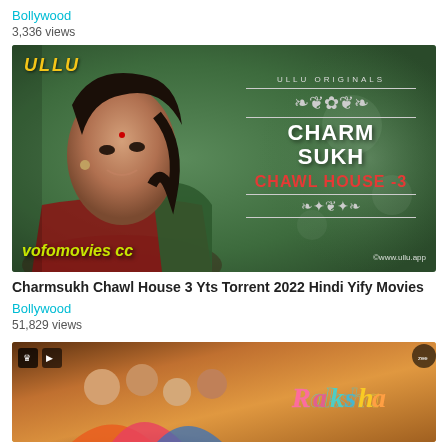Bollywood
3,336 views
[Figure (photo): Movie poster thumbnail for Charmsukh Chawl House 3 by ULLU Originals. Shows a woman smiling, with ULLU branding in yellow, ULLU ORIGINALS text, CHARMSUKH SUKH CHAWL HOUSE-3 title, vofomovies cc watermark, and www.ullu.app watermark.]
Charmsukh Chawl House 3 Yts Torrent 2022 Hindi Yify Movies
Bollywood
51,829 views
[Figure (photo): Movie thumbnail showing a group of people hugging and smiling, with the colorful Raksha Bandhan title text visible on the right side. Small channel icons visible in top left corner.]